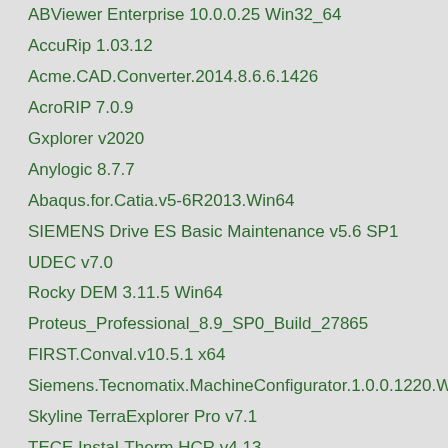ABViewer Enterprise 10.0.0.25 Win32_64
AccuRip 1.03.12
Acme.CAD.Converter.2014.8.6.6.1426
AcroRIP 7.0.9
Gxplorer v2020
Anylogic 8.7.7
Abaqus.for.Catia.v5-6R2013.Win64
SIEMENS Drive ES Basic Maintenance v5.6 SP1
UDEC v7.0
Rocky DEM 3.11.5 Win64
Proteus_Professional_8.9_SP0_Build_27865
FIRST.Conval.v10.5.1 x64
Siemens.Tecnomatix.MachineConfigurator.1.0.0.1220.Win
Skyline TerraExplorer Pro v7.1
TECE.Instal-Therm.HCR.v4.13
DesignBuilder v6.1.0.006
Aldec Riviera-PRO 2014.2 Win64